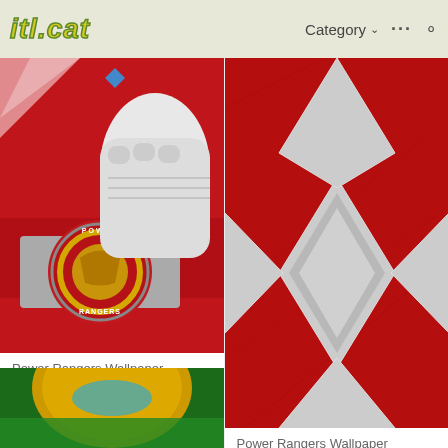itl.cat  Category  ...  🔍
[Figure (photo): Close-up of Red Power Ranger suit with white gloved fist and Power Rangers belt buckle with dinosaur emblem]
Power Rangers Wallpaper
128 KB
[Figure (photo): Red Power Rangers diamond/rhombus chest plate pattern on red textured background]
Power Rangers Wallpaper
1,740 KB
[Figure (photo): Partial view of another Power Rangers image at bottom left — gold and green armor visible]